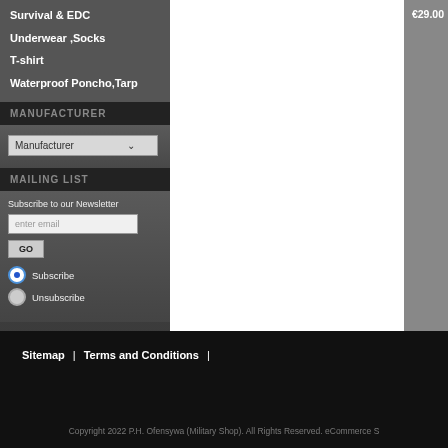Survival & EDC
Underwear ,Socks
T-shirt
Waterproof Poncho,Tarp
MANUFACTURER
Manufacturer (dropdown)
MAILING LIST
Subscribe to our Newsletter
enter email
GO
Subscribe
Unsubscribe
€29.00
Sitemap | Terms and Conditions |
Copyright 2022 P.H. Ofensywa (Military Shop). All Rights Reserved. eCommerce S